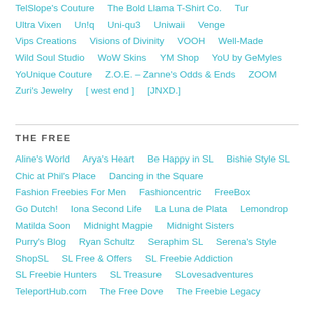TelSlope's Couture    The Bold Llama T-Shirt Co.    Tur
Ultra Vixen    Un!q    Uni-qu3    Uniwaii    Venge
Vips Creations    Visions of Divinity    VOOH    Well-Made
Wild Soul Studio    WoW Skins    YM Shop    YoU by GeMyles
YoUnique Couture    Z.O.E. – Zanne's Odds & Ends    ZOOM
Zuri's Jewelry    [ west end ]    [JNXD.]
THE FREE
Aline's World    Arya's Heart    Be Happy in SL    Bishie Style SL
Chic at Phil's Place    Dancing in the Square
Fashion Freebies For Men    Fashioncentric    FreeBox
Go Dutch!    Iona Second Life    La Luna de Plata    Lemondrop
Matilda Soon    Midnight Magpie    Midnight Sisters
Purry's Blog    Ryan Schultz    Seraphim SL    Serena's Style
ShopSL    SL Free & Offers    SL Freebie Addiction
SL Freebie Hunters    SL Treasure    SLovesadventures
TeleportHub.com    The Free Dove    The Freebie Legacy